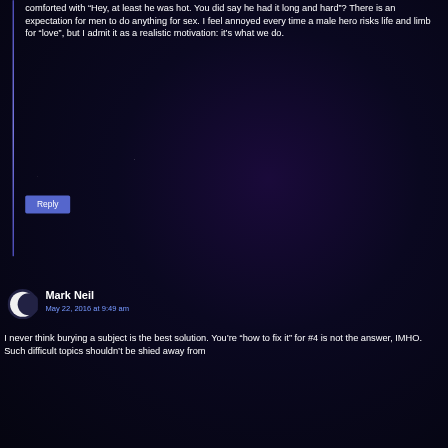comforted with “Hey, at least he was hot. You did say he had it long and hard”? There is an expectation for men to do anything for sex. I feel annoyed every time a male hero risks life and limb for “love”, but I admit it as a realistic motivation: it’s what we do.
Reply
Mark Neil
May 22, 2016 at 9:49 am
I never think burying a subject is the best solution. You’re “how to fix it” for #4 is not the answer, IMHO. Such difficult topics shouldn’t be shied away from